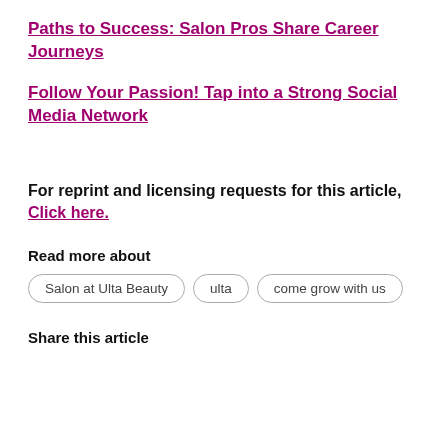Paths to Success: Salon Pros Share Career Journeys
Follow Your Passion! Tap into a Strong Social Media Network
For reprint and licensing requests for this article, Click here.
Read more about
Salon at Ulta Beauty
ulta
come grow with us
Share this article